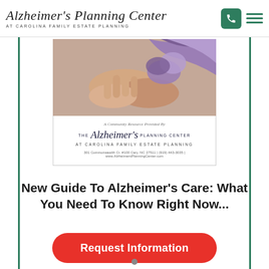Alzheimer's Planning Center AT CAROLINA FAMILY ESTATE PLANNING
[Figure (screenshot): Brochure cover image showing hands holding a purple flower with the Alzheimer's Planning Center logo and address: 301 Commonwealth Ct. #100 Cary, NC 27511; (919) 443-3035; www.AlzheimersPlanningCenter.com]
New Guide To Alzheimer's Care: What You Need To Know Right Now...
Request Information